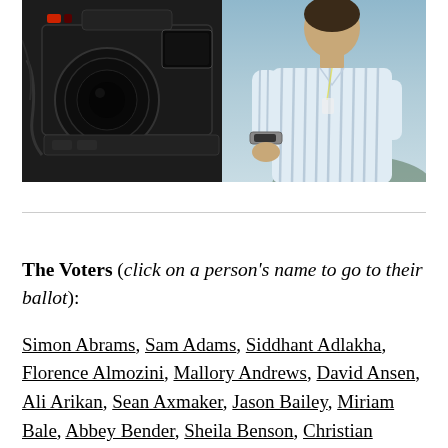[Figure (photo): A person standing behind a professional film camera on a set, wearing a light blue striped shirt with a watch, with dark camera equipment visible in the foreground left.]
The Voters (click on a person's name to go to their ballot):
Simon Abrams, Sam Adams, Siddhant Adlakha, Florence Almozini, Mallory Andrews, David Ansen, Ali Arikan, Sean Axmaker, Jason Bailey, Miriam Bale, Abbey Bender, Sheila Benson, Christian Blauvelt, Danny Bowes, Charles Bramesco, Sean B...